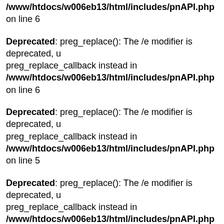/www/htdocs/w006eb13/html/includes/pnAPI.php on line 6
Deprecated: preg_replace(): The /e modifier is deprecated, use preg_replace_callback instead in /www/htdocs/w006eb13/html/includes/pnAPI.php on line 6
Deprecated: preg_replace(): The /e modifier is deprecated, use preg_replace_callback instead in /www/htdocs/w006eb13/html/includes/pnAPI.php on line 5
Deprecated: preg_replace(): The /e modifier is deprecated, use preg_replace_callback instead in /www/htdocs/w006eb13/html/includes/pnAPI.php on line 6
Deprecated: preg_replace(): The /e modifier is deprecated, use preg_replace_callback instead in /www/htdocs/w006eb13/html/includes/pnAPI.php on line 6
Deprecated: preg_replace(): The /e modifier is deprecated, use preg_replace_callback instead in /www/htdocs/w006eb13/html/includes/pnAPI.php on line 5
Deprecated: preg_replace(): The /e modifier is deprecated, use preg_replace_callback instead in /www/htdocs/w006eb13/html/includes/pnAPI.php on line 6